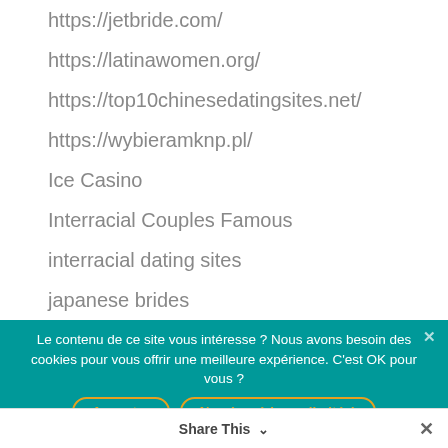https://jetbride.com/
https://latinawomen.org/
https://top10chinesedatingsites.net/
https://wybieramknp.pl/
Ice Casino
Interracial Couples Famous
interracial dating sites
japanese brides
jetbride
Le contenu de ce site vous intéresse ? Nous avons besoin des cookies pour vous offrir une meilleure expérience. C'est OK pour vous ?
Accepter | Non (expérience limitée)
Politique de confidentialité
Share This ✓